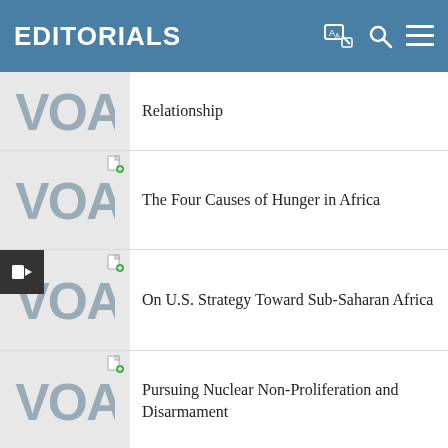EDITORIALS
Relationship
The Four Causes of Hunger in Africa
On U.S. Strategy Toward Sub-Saharan Africa
Pursuing Nuclear Non-Proliferation and Disarmament